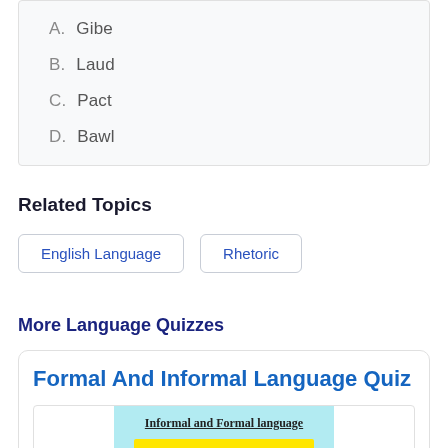A. Gibe
B. Laud
C. Pact
D. Bawl
Related Topics
English Language
Rhetoric
More Language Quizzes
Formal And Informal Language Quiz
[Figure (screenshot): Screenshot of quiz card showing 'Informal and Formal language' title with a yellow bar below on a light blue background]